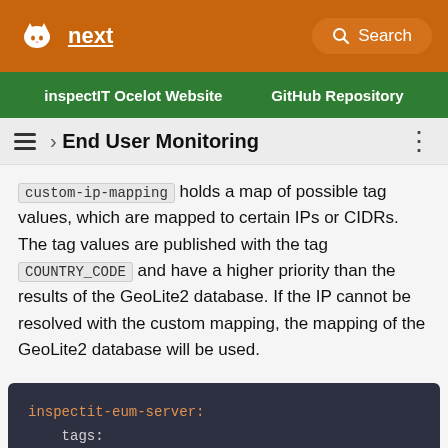next | Search | inspectIT Ocelot Website | GitHub Repository
› End User Monitoring
custom-ip-mapping holds a map of possible tag values, which are mapped to certain IPs or CIDRs. The tag values are published with the tag COUNTRY_CODE and have a higher priority than the results of the GeoLite2 database. If the IP cannot be resolved with the custom mapping, the mapping of the GeoLite2 database will be used.
inspectit-eum-server:
  tags:
    custom-ip-mapping:
      department-1:
        - 10.10.0.0/16